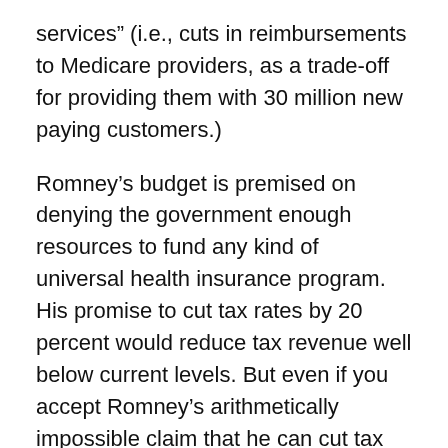services” (i.e., cuts in reimbursements to Medicare providers, as a trade-off for providing them with 30 million new paying customers.)
Romney’s budget is premised on denying the government enough resources to fund any kind of universal health insurance program. His promise to cut tax rates by 20 percent would reduce tax revenue well below current levels. But even if you accept Romney’s arithmetically impossible claim that he can cut tax rates by 20 percent and raise the same tax revenue as the tax code does right now (and without raising taxes on the middle class), merely holding revenue at current, Bush-set levels would make any kind of universal coverage impossible.
Both campaigns describe the election as a stark choice, and this is correct. It’s a choice between universal health